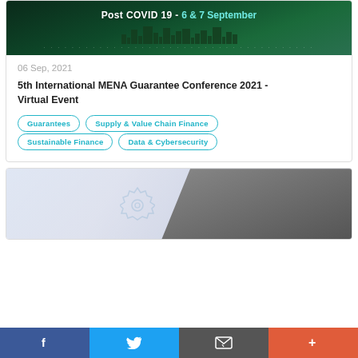[Figure (illustration): Conference banner with dark green city skyline background, text reading 'Post COVID 19 - 6 & 7 September']
06 Sep, 2021
5th International MENA Guarantee Conference 2021 - Virtual Event
Guarantees
Supply & Value Chain Finance
Sustainable Finance
Data & Cybersecurity
[Figure (photo): Woman in dark clothing looking at holographic gear/technology icons, light blue and grey tones]
f  [Twitter bird]  [Email icon]  +